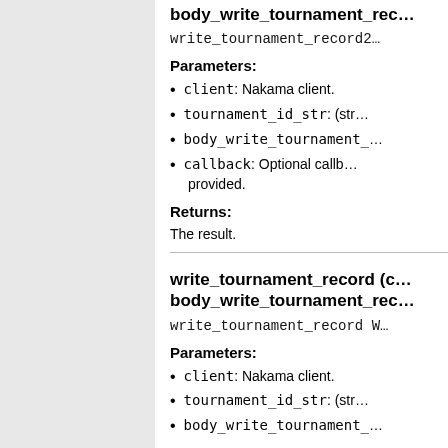body_write_tournament_rec...
write_tournament_record2...
Parameters:
client: Nakama client.
tournament_id_str: (str...
body_write_tournament_...
callback: Optional callb... provided.
Returns:
The result.
write_tournament_record (c... body_write_tournament_rec...
write_tournament_record W...
Parameters:
client: Nakama client.
tournament_id_str: (str...
body_write_tournament_...